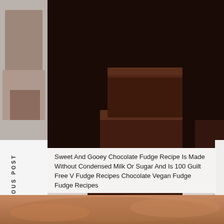[Figure (photo): Stacked squares of dark chocolate fudge on a white surface with chocolate shavings scattered around, watermark reads 'by Happy Kitchen.Rocks']
PREVIOUS POST
NEXT POST
Sweet And Gooey Chocolate Fudge Recipe Is Made Without Condensed Milk Or Sugar And Is 100 Guilt Free V Fudge Recipes Chocolate Vegan Fudge Fudge Recipes
[Figure (photo): Bottom strip showing a warm-toned peach/orange food photo (partially visible)]